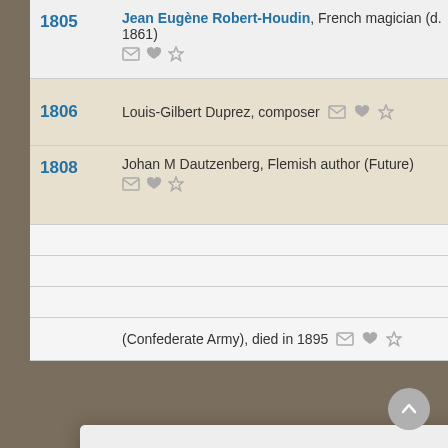1805 – Jean Eugène Robert-Houdin, French magician (d. 1861)
1806 – Louis-Gilbert Duprez, composer
1808 – Johan M Dautzenberg, Flemish author (Future)
(Confederate Army), died in 1895
We use cookies to understand how you use our site and to improve your experience. This includes personalizing content for you and for the display and tracking of advertising. By continuing to use our site, you accept and agree to our use of cookies. Privacy Policy
Got it!